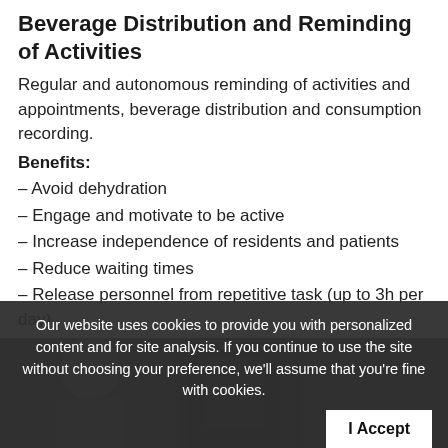Beverage Distribution and Reminding of Activities
Regular and autonomous reminding of activities and appointments, beverage distribution and consumption recording.
Benefits:
– Avoid dehydration
– Engage and motivate to be active
– Increase independence of residents and patients
– Reduce waiting times
– Release personnel from repetitive task (up to 3h per day)
Our website uses cookies to provide you with personalized content and for site analysis. If you continue to use the site without choosing your preference, we'll assume that you're fine with cookies.
[Figure (photo): People smiling, partially visible at the bottom of the page behind the cookie banner]